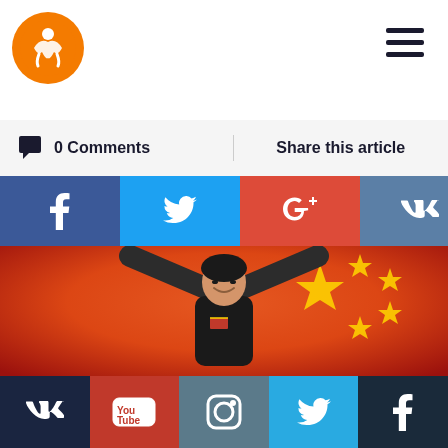[Figure (logo): Orange circular logo with a stylized white figure/athlete icon]
0 Comments
Share this article
[Figure (infographic): Social share buttons row: Facebook (f), Twitter (bird), Google+ (G+), VK (VK), More (+)]
[Figure (photo): Chinese female wrestler celebrating victory, arms raised holding Chinese national flag (red with yellow stars), wearing black athletic top with Chinese flag patch, smiling broadly]
[Figure (infographic): Bottom social media bar with icons: VK, YouTube, Instagram, Twitter, Facebook]